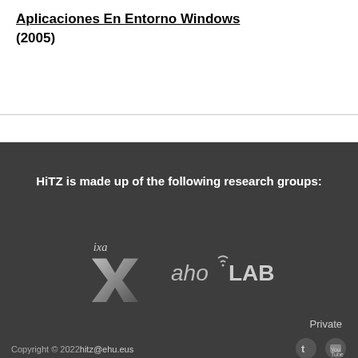Aplicaciones En Entorno Windows (2005)
HiTZ is made up of the following research groups:
[Figure (logo): IXA research group logo — stylized X with 'ixa' text above]
[Figure (logo): ahoLAB research group logo — 'aho' with wifi symbol over the 'o' followed by LAB in capital letters]
Private
Copyright © 2022 hitz@ehu.eus